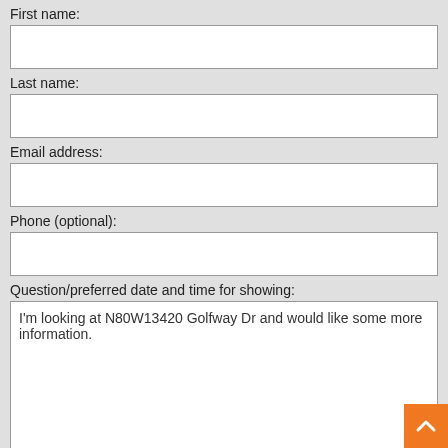First name:
Last name:
Email address:
Phone (optional):
Question/preferred date and time for showing:
I'm looking at N80W13420 Golfway Dr and would like some more information.